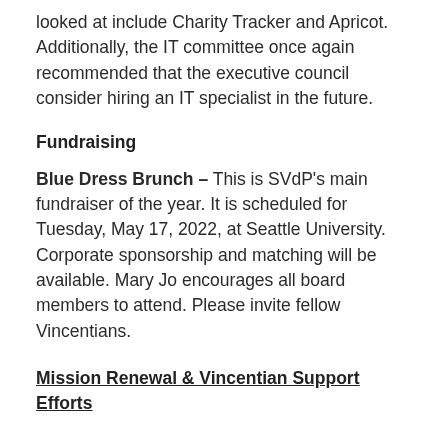looked at include Charity Tracker and Apricot. Additionally, the IT committee once again recommended that the executive council consider hiring an IT specialist in the future.
Fundraising
Blue Dress Brunch – This is SVdP's main fundraiser of the year. It is scheduled for Tuesday, May 17, 2022, at Seattle University. Corporate sponsorship and matching will be available. Mary Jo encourages all board members to attend. Please invite fellow Vincentians.
Mission Renewal & Vincentian Support Efforts